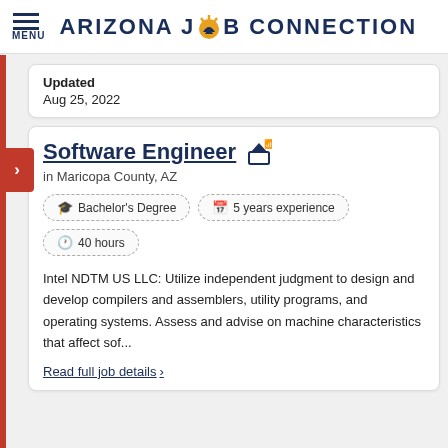MENU | ARIZONA JOB CONNECTION
Updated
Aug 25, 2022
Software Engineer
in Maricopa County, AZ
Bachelor's Degree
5 years experience
40 hours
Intel NDTM US LLC: Utilize independent judgment to design and develop compilers and assemblers, utility programs, and operating systems. Assess and advise on machine characteristics that affect sof...
Read full job details >